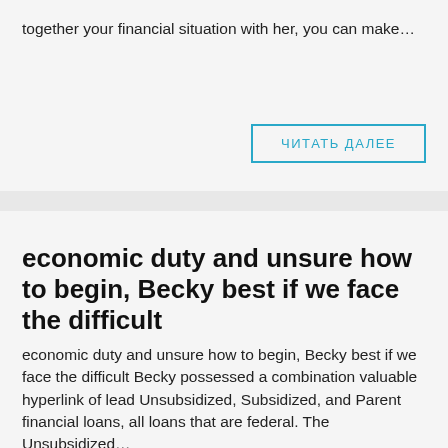together your financial situation with her, you can make…
ЧИТАТЬ ДАЛЕЕ
economic duty and unsure how to begin, Becky best if we face the difficult
economic duty and unsure how to begin, Becky best if we face the difficult Becky possessed a combination valuable hyperlink of lead Unsubsidized, Subsidized, and Parent financial loans, all loans that are federal. The Unsubsidized…
ЧИТАТЬ ДАЛЕЕ